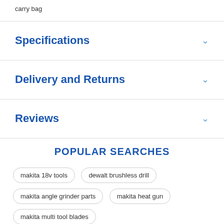carry bag
Specifications
Delivery and Returns
Reviews
POPULAR SEARCHES
makita 18v tools
dewalt brushless drill
makita angle grinder parts
makita heat gun
makita multi tool blades